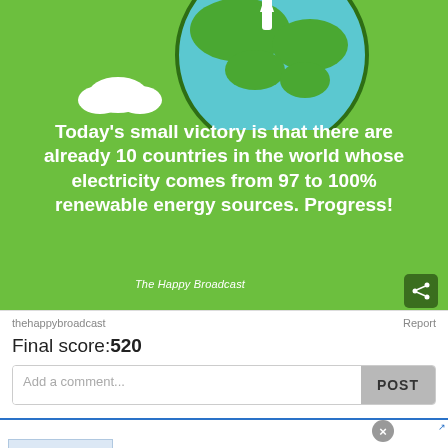[Figure (illustration): Green background with illustrated Earth globe (blue and green) and white cloud in upper left, partially visible at top of image]
Today's small victory is that there are already 10 countries in the world whose electricity comes from 97 to 100% renewable energy sources. Progress!
The Happy Broadcast
thehappybroadcast
Report
Final score:520
Add a comment...
POST
Pet Food, Products, Supplies at Low Prices -
Pay the lowest prices on pet supplies at Chewy.com
chewy.com